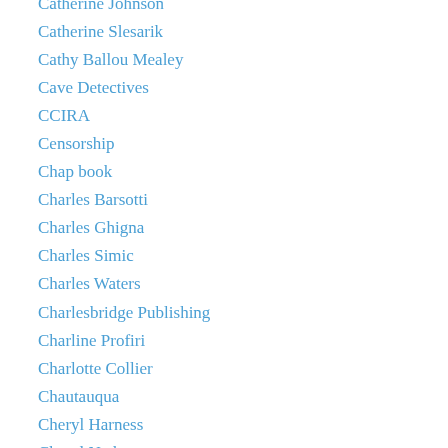Catherine Johnson
Catherine Slesarik
Cathy Ballou Mealey
Cave Detectives
CCIRA
Censorship
Chap book
Charles Barsotti
Charles Ghigna
Charles Simic
Charles Waters
Charlesbridge Publishing
Charline Profiri
Charlotte Collier
Chautauqua
Cheryl Harness
Cheryl Nathan
Chester Moffatt
Children's Literature Festival
Children's Book Inside